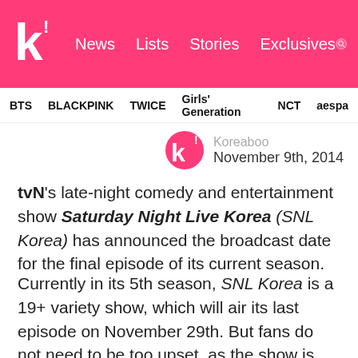Koreaboo | News | Lists | Stories | Exclusives
BTS  BLACKPINK  TWICE  Girls' Generation  NCT  aespa
Koreaboo
November 9th, 2014
tvN's late-night comedy and entertainment show Saturday Night Live Korea (SNL Korea) has announced the broadcast date for the final episode of its current season.
Currently in its 5th season, SNL Korea is a 19+ variety show, which will air its last episode on November 29th. But fans do not need to be too upset, as the show is only taking a short break and will be back with a new series in the first half of next year, 2015.